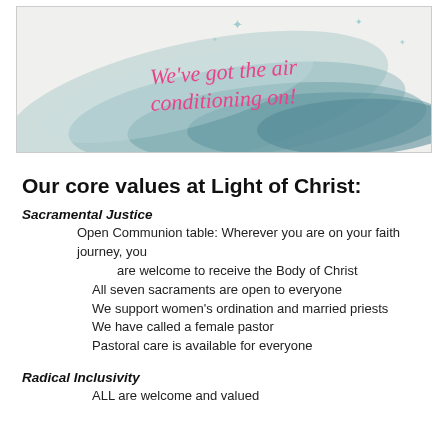[Figure (illustration): Watercolor banner image with teal/blue abstract swirl pattern and pink script text reading 'We've got the air conditioning on!' with small sparkle decorations]
Our core values at Light of Christ:
Sacramental Justice
Open Communion table: Wherever you are on your faith journey, you
are welcome to receive the Body of Christ
All seven sacraments are open to everyone
We support women's ordination and married priests
We have called a female pastor
Pastoral care is available for everyone
Radical Inclusivity
ALL are welcome and valued